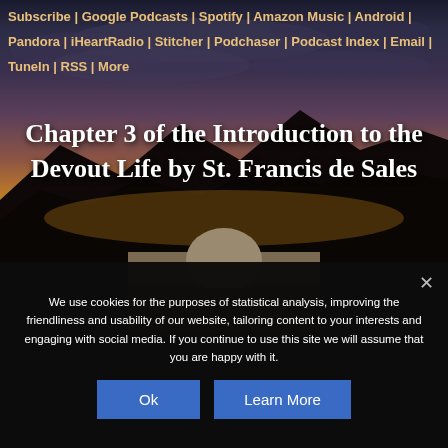Subscribe | Google Podcasts | Spotify | Amazon Music | Android | Pandora | iHeartRadio | Stitcher | Podchaser | Podcast Index | Email | TuneIn | RSS | More
Chapter 3 of the Introduction to the Devout Life by St. Francis de Sales
[Figure (photo): A sunset/dusk scene with dark silhouetted mountains against an orange and purple sky, with a partial view of a figure's back/shoulders at the bottom center of the image.]
We use cookies for the purposes of statistical analysis, improving the friendliness and usability of our website, tailoring content to your interests and engaging with social media. If you continue to use this site we will assume that you are happy with it.